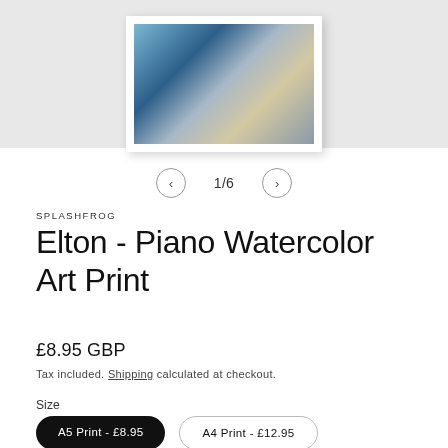[Figure (photo): Framed watercolor art print of Elton John at piano, shown hanging on a light grey wall. The artwork features blues, greys and skin tones.]
1/6
SPLASHFROG
Elton - Piano Watercolor Art Print
£8.95 GBP
Tax included. Shipping calculated at checkout.
Size
A5 Print - £8.95
A4 Print - £12.95